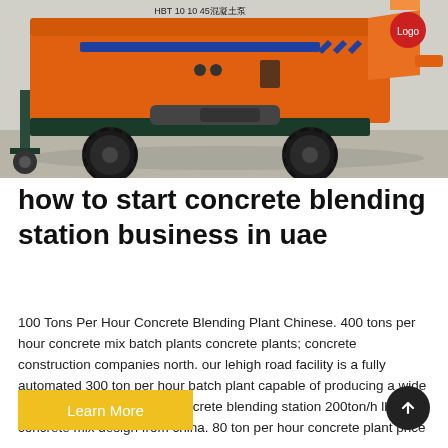[Figure (photo): Orange and dark teal concrete pump machine on wheels, photographed outdoors on a paved surface. Large rubber tires, hydraulic arm, hopper visible. Chinese text on the machine body.]
how to start concrete blending station business in uae
100 Tons Per Hour Concrete Blending Plant Chinese. 400 tons per hour concrete mix batch plants concrete plants; concrete construction companies north. our lehigh road facility is a fully automated 300 ton per hour batch plant capable of producing a wide variety 320 tons per hour concrete blending station 200ton/h lb2500 concrete mix design from china. 80 ton per hour concrete plant price